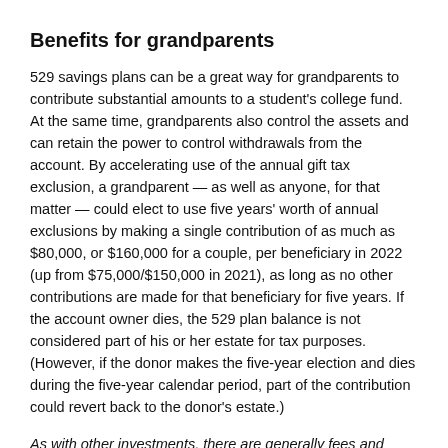Benefits for grandparents
529 savings plans can be a great way for grandparents to contribute substantial amounts to a student's college fund. At the same time, grandparents also control the assets and can retain the power to control withdrawals from the account. By accelerating use of the annual gift tax exclusion, a grandparent — as well as anyone, for that matter — could elect to use five years' worth of annual exclusions by making a single contribution of as much as $80,000, or $160,000 for a couple, per beneficiary in 2022 (up from $75,000/$150,000 in 2021), as long as no other contributions are made for that beneficiary for five years. If the account owner dies, the 529 plan balance is not considered part of his or her estate for tax purposes. (However, if the donor makes the five-year election and dies during the five-year calendar period, part of the contribution could revert back to the donor's estate.)
As with other investments, there are generally fees and expenses associated with participation in a Section 529